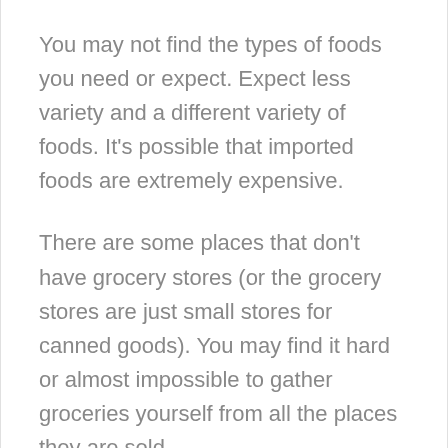You may not find the types of foods you need or expect. Expect less variety and a different variety of foods. It's possible that imported foods are extremely expensive.
There are some places that don't have grocery stores (or the grocery stores are just small stores for canned goods). You may find it hard or almost impossible to gather groceries yourself from all the places they are sold.
It might not be realistic to go gluten-free or vegan.